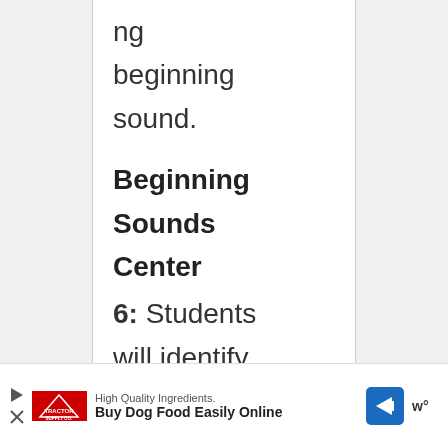ng beginning sound.
Beginning Sounds Center
6: Students will identify the beginning sound of
[Figure (infographic): Advertisement banner at bottom of page showing Tractor Supply Co. logo, text 'High Quality Ingredients.' and 'Buy Dog Food Easily Online', with a blue navigation arrow icon and close button]